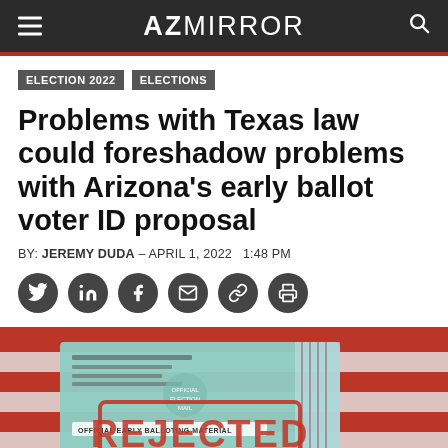AZ MIRROR
ELECTION 2022
ELECTIONS
Problems with Texas law could foreshadow problems with Arizona's early ballot voter ID proposal
BY: JEREMY DUDA – APRIL 1, 2022   1:48 PM
[Figure (photo): An official early balloting material envelope from Maricopa County Elections Department with a red REJECTED stamp overlay on top, shown against a blurred red and white background.]